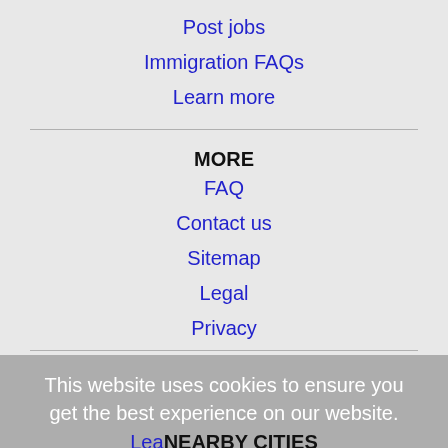Post jobs
Immigration FAQs
Learn more
MORE
FAQ
Contact us
Sitemap
Legal
Privacy
This website uses cookies to ensure you get the best experience on our website.
Learn
NEARBY CITIES
Allentown, PA Jobs
Bayonne, NJ Jobs
Bethlehem, PA Jobs
Binghamton, NY Jobs